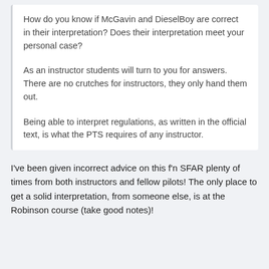How do you know if McGavin and DieselBoy are correct in their interpretation? Does their interpretation meet your personal case?
As an instructor students will turn to you for answers. There are no crutches for instructors, they only hand them out.
Being able to interpret regulations, as written in the official text, is what the PTS requires of any instructor.
I've been given incorrect advice on this f'n SFAR plenty of times from both instructors and fellow pilots! The only place to get a solid interpretation, from someone else, is at the Robinson course (take good notes)!